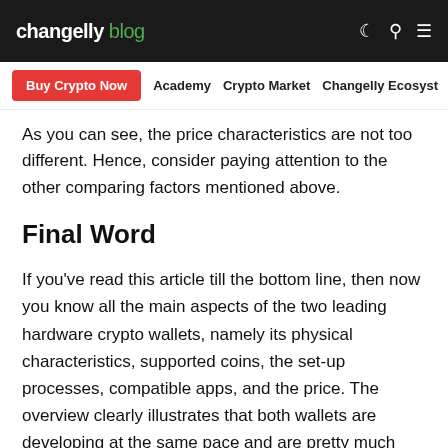changelly blog
As you can see, the price characteristics are not too different. Hence, consider paying attention to the other comparing factors mentioned above.
Final Word
If you've read this article till the bottom line, then now you know all the main aspects of the two leading hardware crypto wallets, namely its physical characteristics, supported coins, the set-up processes, compatible apps, and the price. The overview clearly illustrates that both wallets are developing at the same pace and are pretty much equal feature-wise. By saying that we mean that both Trezor and Ledger deserve to be purchased. So, when